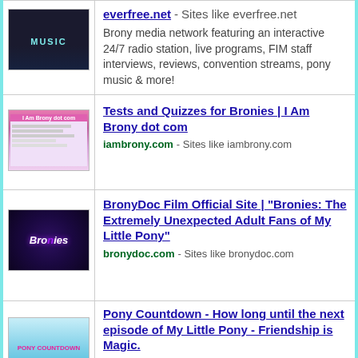everfree.net - Sites like everfree.net
Brony media network featuring an interactive 24/7 radio station, live programs, FIM staff interviews, reviews, convention streams, pony music & more!
Tests and Quizzes for Bronies | I Am Brony dot com
iambrony.com - Sites like iambrony.com
BronyDoc Film Official Site | "Bronies: The Extremely Unexpected Adult Fans of My Little Pony"
bronydoc.com - Sites like bronydoc.com
Pony Countdown - How long until the next episode of My Little Pony - Friendship is Magic.
ponycountdown.com - Sites like ponycountdown.com